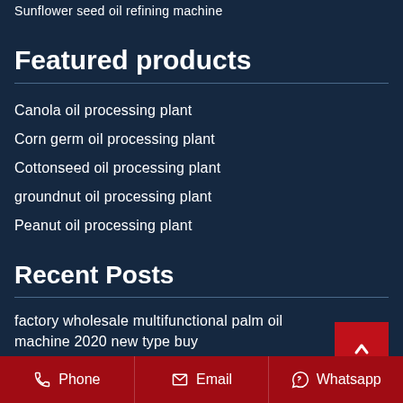Sunflower seed oil refining machine
Featured products
Canola oil processing plant
Corn germ oil processing plant
Cottonseed oil processing plant
groundnut oil processing plant
Peanut oil processing plant
Recent Posts
factory wholesale multifunctional palm oil machine 2020 new type buy
Phone   Email   Whatsapp